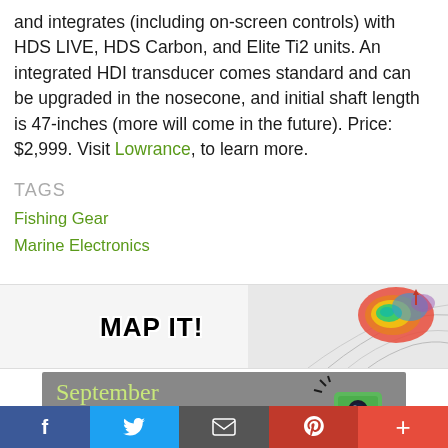and integrates (including on-screen controls) with HDS LIVE, HDS Carbon, and Elite Ti2 units. An integrated HDI transducer comes standard and can be upgraded in the nosecone, and initial shaft length is 47-inches (more will come in the future). Price: $2,999. Visit Lowrance, to learn more.
TAGS
Fishing Gear
Marine Electronics
[Figure (illustration): MAP IT! banner advertisement with colorful bathymetric map on the right side]
[Figure (illustration): September Cover Contest banner advertisement with cursive text and camera illustration]